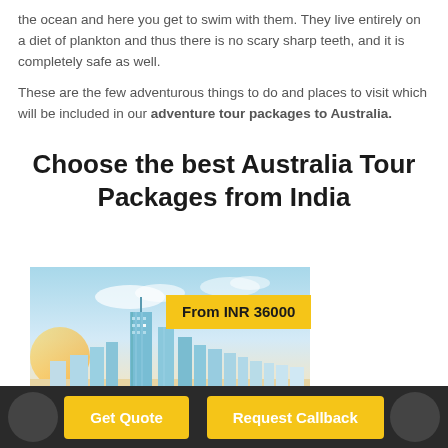the ocean and here you get to swim with them. They live entirely on a diet of plankton and thus there is no scary sharp teeth, and it is completely safe as well.
These are the few adventurous things to do and places to visit which will be included in our adventure tour packages to Australia.
Choose the best Australia Tour Packages from India
[Figure (photo): Aerial cityscape photo of Gold Coast Australia skyline with skyscrapers and beach, with a yellow price badge overlay reading 'From INR 36000']
Get Quote | Request Callback